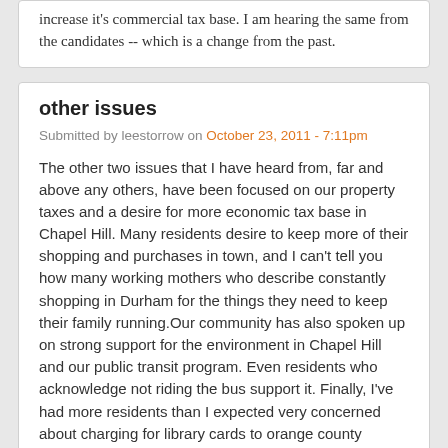increase it's commercial tax base.  I am hearing the same from the candidates -- which is a change from the past.
other issues
Submitted by leestorrow on October 23, 2011 - 7:11pm
The other two issues that I have heard from, far and above any others, have been focused on our property taxes and a desire for more economic tax base in Chapel Hill. Many residents desire to keep more of their shopping and purchases in town, and I can't tell you how many working mothers who describe constantly shopping in Durham for the things they need to keep their family running.Our community has also spoken up on strong support for the environment in Chapel Hill and our public transit program. Even residents who acknowledge not riding the bus support it. Finally, I've had more residents than I expected very concerned about charging for library cards to orange county residents, and they oppose charging orange county residents at a rate of 4 to 1, based on my informal sample